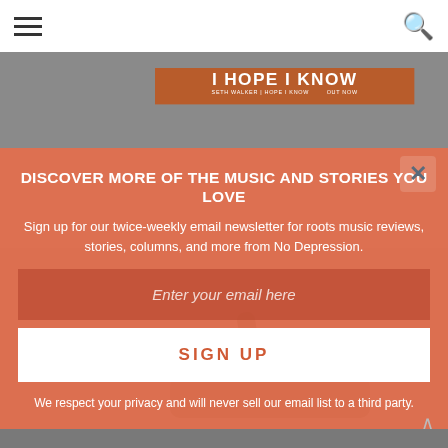[Figure (screenshot): Website screenshot with navigation bar at top showing hamburger menu and search icon, background showing a music album promotional billboard for Seth Walker 'I Hope I Know' with 'OUT NOW' text, and a car illustration at the bottom.]
DISCOVER MORE OF THE MUSIC AND STORIES YOU LOVE
Sign up for our twice-weekly email newsletter for roots music reviews, stories, columns, and more from No Depression.
Enter your email here
SIGN UP
We respect your privacy and will never sell our email list to a third party.